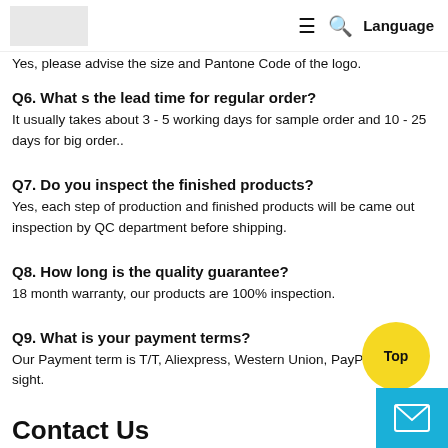Language
Yes, please advise the size and Pantone Code of the logo.
Q6. What s the lead time for regular order?
It usually takes about 3 - 5 working days for sample order and 10 - 25 days for big order..
Q7. Do you inspect the finished products?
Yes, each step of production and finished products will be came out inspection by QC department before shipping.
Q8. How long is the quality guarantee?
18 month warranty, our products are 100% inspection.
Q9. What is your payment terms?
Our Payment term is T/T, Aliexpress, Western Union, PayPal, L/C at sight.
Contact Us